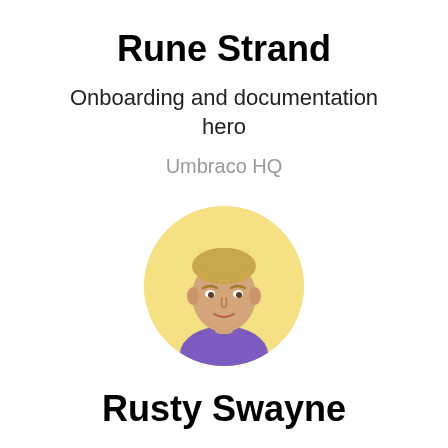Rune Strand
Onboarding and documentation hero
Umbraco HQ
[Figure (photo): Circular profile photo of Rusty Swayne, a young man with short blond hair, on a yellow background, wearing a purple shirt.]
Rusty Swayne
Open source ecommerce extraordinaire